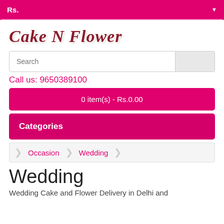Rs.
[Figure (logo): Cake N Flower logo in italic serif bold text with dark red color]
Search
Call us: 9650389100
0 item(s) - Rs.0.00
Categories
Occasion  Wedding
Wedding
Wedding Cake and Flower Delivery in Delhi and